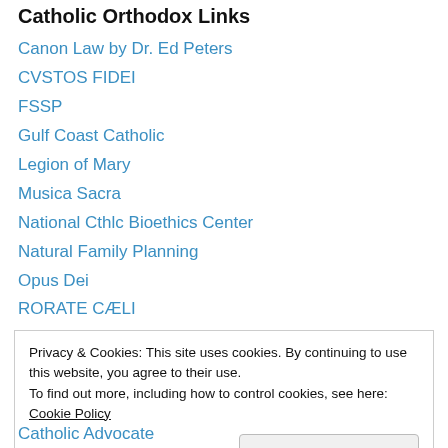Catholic Orthodox Links
Canon Law by Dr. Ed Peters
CVSTOS FIDEI
FSSP
Gulf Coast Catholic
Legion of Mary
Musica Sacra
National Cthlc Bioethics Center
Natural Family Planning
Opus Dei
RORATE CÆLI
The Distributist Review
The New Liturgical Movement
Privacy & Cookies: This site uses cookies. By continuing to use this website, you agree to their use. To find out more, including how to control cookies, see here: Cookie Policy
Catholic Advocate